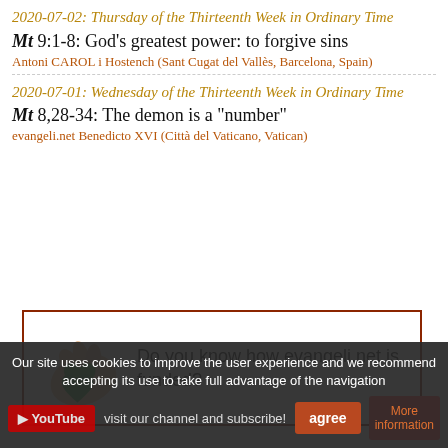2020-07-02: Thursday of the Thirteenth Week in Ordinary Time
Mt 9:1-8: God's greatest power: to forgive sins
Antoni CAROL i Hostench (Sant Cugat del Vallès, Barcelona, Spain)
2020-07-01: Wednesday of the Thirteenth Week in Ordinary Time
Mt 8,28-34: The demon is a "number"
evangeli.net Benedicto XVI (Città del Vaticano, Vatican)
[Figure (infographic): Advertisement box with a hand placing a green heart, text: Do you know how evangeli.net is funded?]
Our site uses cookies to improve the user experience and we recommend accepting its use to take full advantage of the navigation
visit our channel and subscribe!
agree
More information